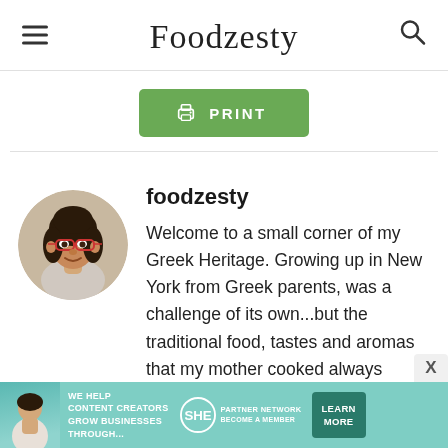Foodzesty
[Figure (screenshot): Green PRINT button with printer icon]
foodzesty
Welcome to a small corner of my Greek Heritage. Growing up in New York from Greek parents, was a challenge of its own...but the traditional food, tastes and aromas that my mother cooked always travelled me back to Greece
[Figure (photo): Circular avatar photo of a woman with glasses and dark hair]
[Figure (infographic): SHE Partner Network advertisement banner: WE HELP CONTENT CREATORS GROW BUSINESSES THROUGH... LEARN MORE]